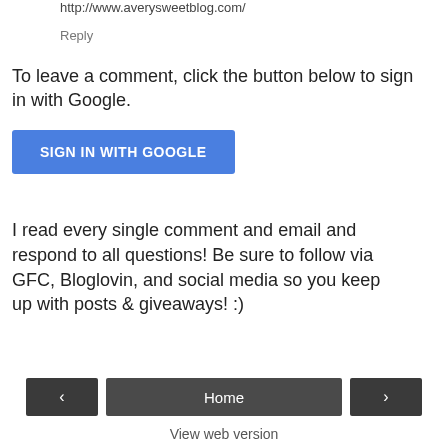http://www.averysweetblog.com/
Reply
To leave a comment, click the button below to sign in with Google.
[Figure (other): Blue 'SIGN IN WITH GOOGLE' button]
I read every single comment and email and respond to all questions! Be sure to follow via GFC, Bloglovin, and social media so you keep up with posts & giveaways! :)
[Figure (other): Navigation bar with left arrow, Home button, and right arrow]
View web version
Powered by Blogger.